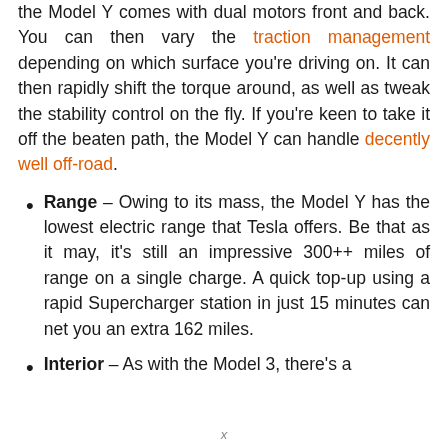the Model Y comes with dual motors front and back. You can then vary the traction management depending on which surface you're driving on. It can then rapidly shift the torque around, as well as tweak the stability control on the fly. If you're keen to take it off the beaten path, the Model Y can handle decently well off-road.
Range – Owing to its mass, the Model Y has the lowest electric range that Tesla offers. Be that as it may, it's still an impressive 300++ miles of range on a single charge. A quick top-up using a rapid Supercharger station in just 15 minutes can net you an extra 162 miles.
Interior – As with the Model 3, there's a
x